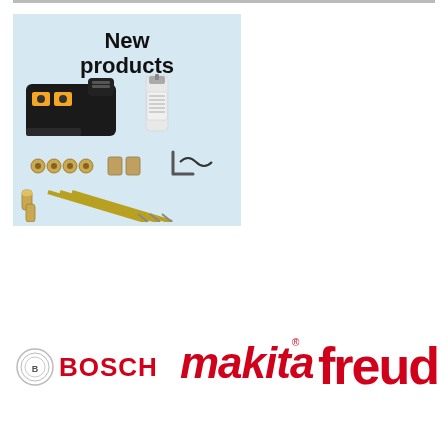[Figure (photo): Product advertisement box with light blue background showing 'New products' text and woodworking tools including a pocket hole jig kit with drill bits, screws, and glue bottle]
[Figure (logo): Bosch logo - circular Bosch icon with BOSCH text in red]
[Figure (logo): Makita logo in red italic font]
[Figure (logo): Freud logo in red font, partially visible/cropped at right edge]